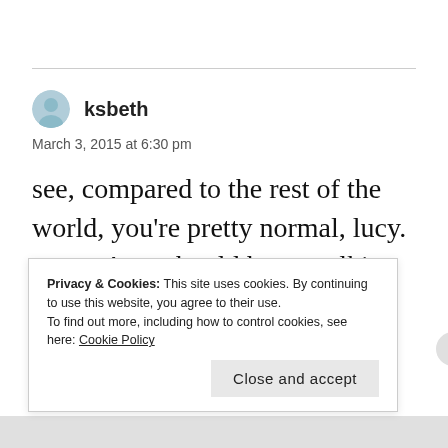ksbeth
March 3, 2015 at 6:30 pm
see, compared to the rest of the world, you're pretty normal, lucy. me too! we should have walking group for all of
Privacy & Cookies: This site uses cookies. By continuing to use this website, you agree to their use.
To find out more, including how to control cookies, see here: Cookie Policy
Close and accept